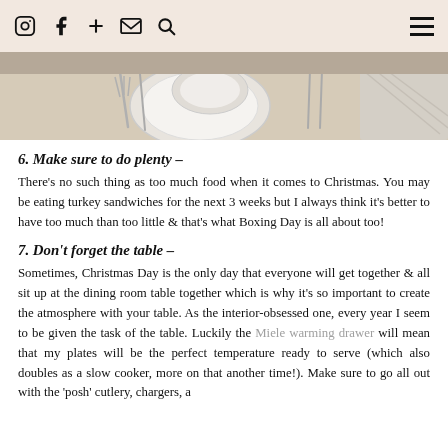Instagram Facebook + Email Search [menu]
[Figure (photo): A top-down photo of a dining table set with plates, cutlery, and a folded napkin.]
6. Make sure to do plenty –
There's no such thing as too much food when it comes to Christmas. You may be eating turkey sandwiches for the next 3 weeks but I always think it's better to have too much than too little & that's what Boxing Day is all about too!
7. Don't forget the table –
Sometimes, Christmas Day is the only day that everyone will get together & all sit up at the dining room table together which is why it's so important to create the atmosphere with your table. As the interior-obsessed one, every year I seem to be given the task of the table. Luckily the Miele warming drawer will mean that my plates will be the perfect temperature ready to serve (which also doubles as a slow cooker, more on that another time!). Make sure to go all out with the 'posh' cutlery, chargers, a